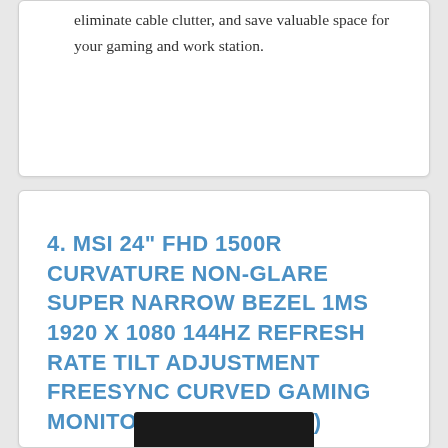eliminate cable clutter, and save valuable space for your gaming and work station.
[Figure (other): Check on Amazon button with Amazon logo]
4. MSI 24" FHD 1500R CURVATURE NON-GLARE SUPER NARROW BEZEL 1MS 1920 X 1080 144HZ REFRESH RATE TILT ADJUSTMENT FREESYNC CURVED GAMING MONITOR (OPTIX G24C4)
[Figure (photo): Product thumbnail image at bottom of card]